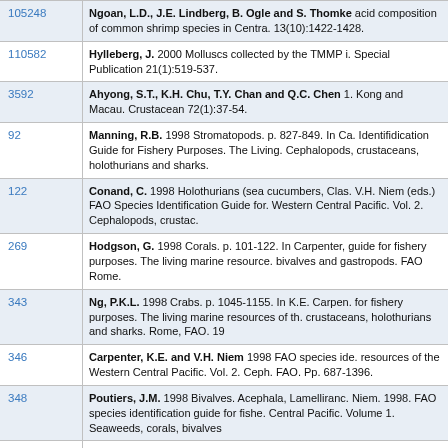| ID | Reference |
| --- | --- |
| 105248 | Ngoan, L.D., J.E. Lindberg, B. Ogle and S. Thomke. acid composition of common shrimp species in Centra. 13(10):1422-1428. |
| 110582 | Hylleberg, J. 2000 Molluscs collected by the TMMP i. Special Publication 21(1):519-537. |
| 3592 | Ahyong, S.T., K.H. Chu, T.Y. Chan and Q.C. Chen 1. Kong and Macau. Crustacean 72(1):37-54. |
| 92 | Manning, R.B. 1998 Stromatopods. p. 827-849. In Ca. Identifidication Guide for Fishery Purposes. The Living. Cephalopods, crustaceans, holothurians and sharks. |
| 122 | Conand, C. 1998 Holothurians (sea cucumbers, Clas. V.H. Niem (eds.) FAO Species Identification Guide for. Western Central Pacific. Vol. 2. Cephalopods, crustac. |
| 269 | Hodgson, G. 1998 Corals. p. 101-122. In Carpenter, guide for fishery purposes. The living marine resource. bivalves and gastropods. FAO Rome. |
| 343 | Ng, P.K.L. 1998 Crabs. p. 1045-1155. In K.E. Carpen. for fishery purposes. The living marine resources of th. crustaceans, holothurians and sharks. Rome, FAO. 19 |
| 346 | Carpenter, K.E. and V.H. Niem 1998 FAO species ide. resources of the Western Central Pacific. Vol. 2. Ceph. FAO. Pp. 687-1396. |
| 348 | Poutiers, J.M. 1998 Bivalves. Acephala, Lamelliranc. Niem. 1998. FAO species identification guide for fishe. Central Pacific. Volume 1. Seaweeds, corals, bivalves |
| 349 | Poutiers, J.M. 1998 Gastropods. p. 363-648. In Carp. identification guide for fishery purposes. The living ma |